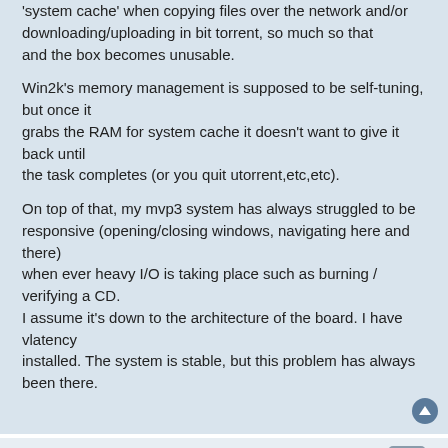'system cache' when copying files over the network and/or downloading/uploading in bit torrent, so much so that and the box becomes unusable.
Win2k's memory management is supposed to be self-tuning, but once it grabs the RAM for system cache it doesn't want to give it back until the task completes (or you quit utorrent,etc,etc).
On top of that, my mvp3 system has always struggled to be responsive (opening/closing windows, navigating here and there) when ever heavy I/O is taking place such as burning / verifying a CD. I assume it's down to the architecture of the board. I have vlatency installed. The system is stable, but this problem has always been there.
Jim
K6'er Elite
RE: 256 MB RAM, K6-3+ @ 550Mhz, Windows 2000 system cache
Mon Apr 25, 2011 3:48 pm
So get more RAM for it. You should be able to put it 3 x 256 Meg sticks to give you a total of 768 Meg. That should give you more breathing space; and I doubt if it would cost much now since that is obsolete RAM anyway.